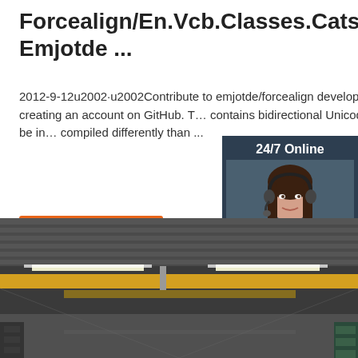Forcealign/En.Vcb.Classes.Cats At Master · Emjotde ...
2012-9-12u2002·u2002Contribute to emjotde/forcealign development by creating an account on GitHub. T… contains bidirectional Unicode text that may be in… compiled differently than ...
[Figure (screenshot): Orange 'Get Price' button]
[Figure (photo): 24/7 online chat widget with a woman wearing a headset, dark background, showing '24/7 Online', 'Click here for free chat!' text, and an orange QUOTATION button]
[Figure (photo): Interior photo of an industrial factory/warehouse with overhead cranes and fluorescent lighting]